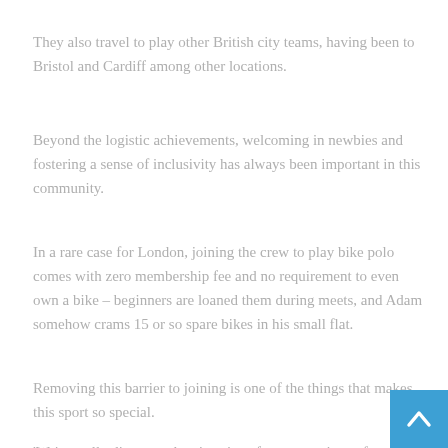They also travel to play other British city teams, having been to Bristol and Cardiff among other locations.
Beyond the logistic achievements, welcoming in newbies and fostering a sense of inclusivity has always been important in this community.
In a rare case for London, joining the crew to play bike polo comes with zero membership fee and no requirement to even own a bike – beginners are loaned them during meets, and Adam somehow crams 15 or so spare bikes in his small flat.
Removing this barrier to joining is one of the things that makes this sport so special.
'We're really diverse – there's quite a few generations of